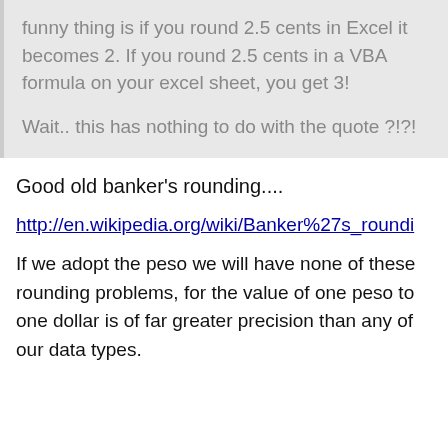funny thing is if you round 2.5 cents in Excel it becomes 2.  If you round 2.5 cents in a VBA formula on your excel sheet, you get 3!

Wait.. this has nothing to do with the quote ?!?!
Good old banker's rounding....
http://en.wikipedia.org/wiki/Banker%27s_roundi
If we adopt the peso we will have none of these rounding problems, for the value of one peso to one dollar is of far greater precision than any of our data types.